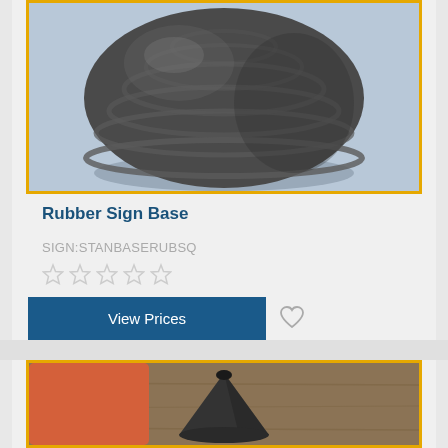[Figure (photo): Rubber sign base product photo - dark grey ribbed rubber dome-shaped base with concentric ring texture, shown against light blue background, framed with yellow/gold border]
Rubber Sign Base
SIGN:STANBASERUBSQ
Star rating: 0 out of 5 stars (empty stars)
View Prices
[Figure (photo): Second product photo - black cone-shaped rubber sign base with hole at top, shown on wooden surface with orange object partially visible, framed with yellow/gold border]